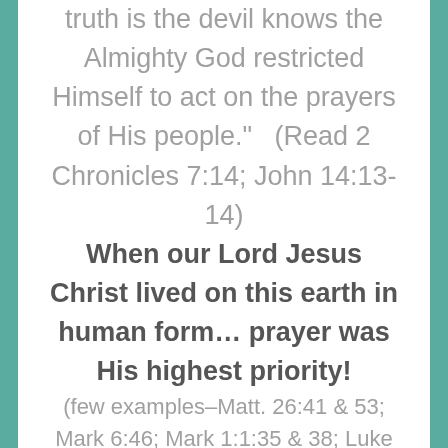truth is the devil knows the Almighty God restricted Himself to act on the prayers of His people."   (Read 2 Chronicles 7:14; John 14:13-14)
When our Lord Jesus Christ lived on this earth in human form… prayer was His highest priority!
(few examples–Matt. 26:41 & 53; Mark 6:46; Mark 1:1:35 & 38; Luke